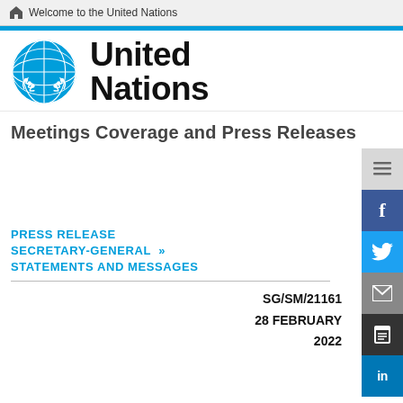Welcome to the United Nations
[Figure (logo): United Nations emblem logo in blue, circular design with world map and olive branches]
United Nations
Meetings Coverage and Press Releases
PRESS RELEASE
SECRETARY-GENERAL »
STATEMENTS AND MESSAGES
SG/SM/21161
28 FEBRUARY
2022